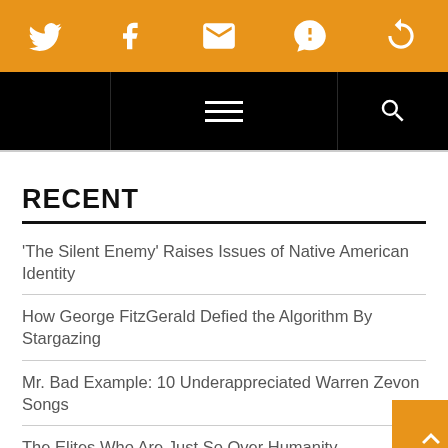Social share icons: Twitter, Facebook, Email, SMS, Other
[Figure (screenshot): Navigation bar with hamburger menu and search icon on black background]
RECENT
‘The Silent Enemy’ Raises Issues of Native American Identity
How George FitzGerald Defied the Algorithm By Stargazing
Mr. Bad Example: 10 Underappreciated Warren Zevon Songs
The Elites Who Are Just So Over Humanity